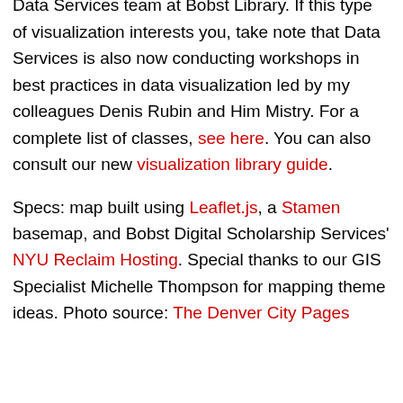research data management are on offer by the Data Services team at Bobst Library. If this type of visualization interests you, take note that Data Services is also now conducting workshops in best practices in data visualization led by my colleagues Denis Rubin and Him Mistry. For a complete list of classes, see here. You can also consult our new visualization library guide.
Specs: map built using Leaflet.js, a Stamen basemap, and Bobst Digital Scholarship Services' NYU Reclaim Hosting. Special thanks to our GIS Specialist Michelle Thompson for mapping theme ideas. Photo source: The Denver City Pages